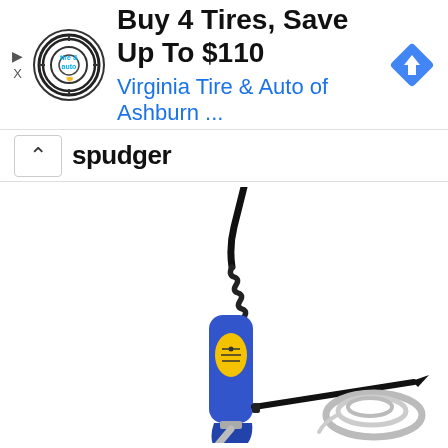[Figure (screenshot): Advertisement banner: circular logo for Virginia Tire & Auto, text 'Buy 4 Tires, Save Up To $110' and 'Virginia Tire & Auto of Ashburn ...', blue navigation diamond icon on right, play and X icons on left.]
spudger
[Figure (photo): Product photo showing a blue and yellow soldering iron/heat gun with black coiled cord, accompanied by a black pointed spudger tool and a coil of silver/white wire or solder.]